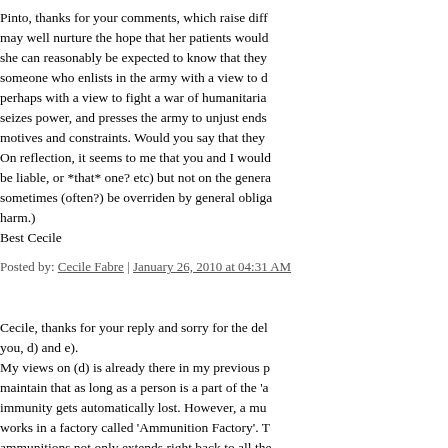Pinto, thanks for your comments, which raise diff... may well nurture the hope that her patients would... she can reasonably be expected to know that they... someone who enlists in the army with a view to d... perhaps with a view to fight a war of humanitaria... seizes power, and presses the army to unjust ends... motives and constraints. Would you say that they... On reflection, it seems to me that you and I would... be liable, or *that* one? etc) but not on the genera... sometimes (often?) be overriden by general obliga... harm.)
Best Cecile
Posted by: Cecile Fabre | January 26, 2010 at 04:31 AM
Cecile, thanks for your reply and sorry for the del... you, d) and e).
My views on (d) is already there in my previous p... maintain that as long as a person is a part of the 'a... immunity gets automatically lost. However, a mu... works in a factory called 'Ammunition Factory'. T... ammunitions not only extends right back to all the... on its path lies a whole host of other factories that... manufacturing and processing units. The easiest a... manufacture is to attack all the water resources in... line? Here lies the problem of making ammunitio... the boundaries of the factory called Ammunitio...